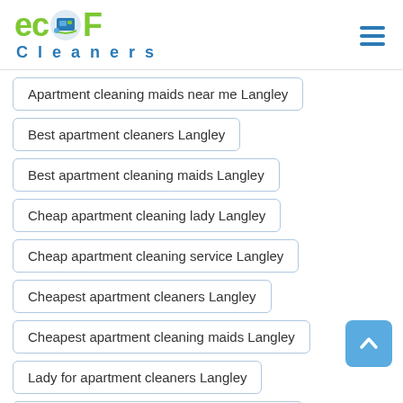[Figure (logo): ecoF Cleaners logo with green text and blue icon]
Apartment cleaning maids near me Langley
Best apartment cleaners Langley
Best apartment cleaning maids Langley
Cheap apartment cleaning lady Langley
Cheap apartment cleaning service Langley
Cheapest apartment cleaners Langley
Cheapest apartment cleaning maids Langley
Lady for apartment cleaners Langley
Local apartment cleaning company Langley
Local apartment cleaning service Langley